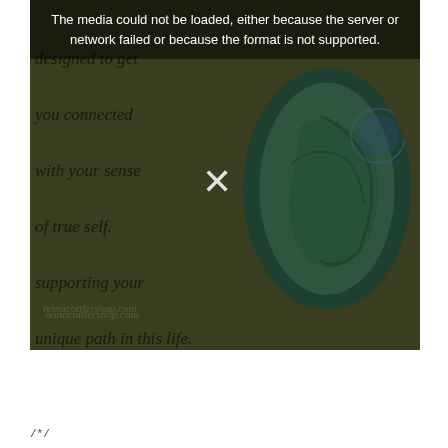[Figure (photo): A dark olive/green background promotional image with italic script text on the left and an oval-framed product photo on the right. The image failed to load and shows a browser media error overlay. Text reads: 'designed to get you connected with your sense of true self. supporting your unique path in this life.' Website url: reinacottlershop.com]
reinacottlershop.com
/*/